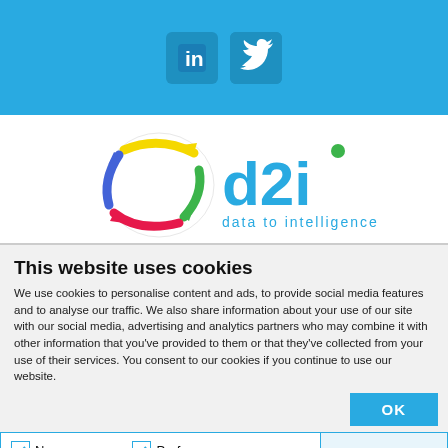[Figure (logo): LinkedIn and Twitter social media icons in blue rounded squares on a blue header background]
[Figure (logo): d2i (data to intelligence) company logo with colorful globe/arrows graphic on white background]
This website uses cookies
We use cookies to personalise content and ads, to provide social media features and to analyse our traffic. We also share information about your use of our site with our social media, advertising and analytics partners who may combine it with other information that you've provided to them or that they've collected from your use of their services. You consent to our cookies if you continue to use our website.
OK
Necessary  Preferences  Statistics  Marketing  Show details